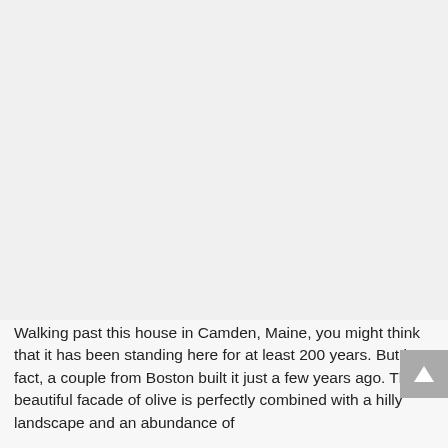[Figure (photo): Large blank/light gray image area occupying the top portion of the page]
Walking past this house in Camden, Maine, you might think that it has been standing here for at least 200 years. But in fact, a couple from Boston built it just a few years ago. The beautiful facade of olive is perfectly combined with a hilly landscape and an abundance of
[Figure (other): Scroll-to-top button — gray square with white upward-pointing triangle arrow, positioned at bottom right]